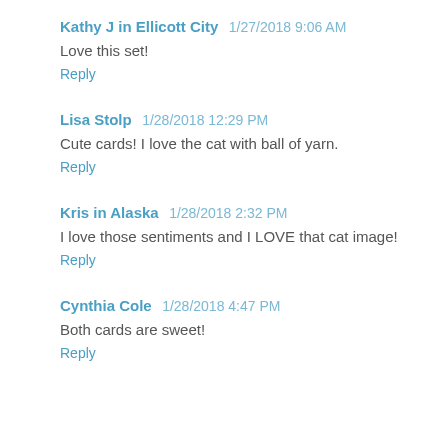Kathy J in Ellicott City  1/27/2018 9:06 AM
Love this set!
Reply
Lisa Stolp  1/28/2018 12:29 PM
Cute cards! I love the cat with ball of yarn.
Reply
Kris in Alaska  1/28/2018 2:32 PM
I love those sentiments and I LOVE that cat image!
Reply
Cynthia Cole  1/28/2018 4:47 PM
Both cards are sweet!
Reply